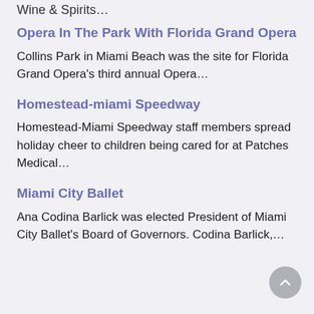Wine & Spirits…
Opera In The Park With Florida Grand Opera
Collins Park in Miami Beach was the site for Florida Grand Opera's third annual Opera…
Homestead-miami Speedway
Homestead-Miami Speedway staff members spread holiday cheer to children being cared for at Patches Medical…
Miami City Ballet
Ana Codina Barlick was elected President of Miami City Ballet's Board of Governors. Codina Barlick,…